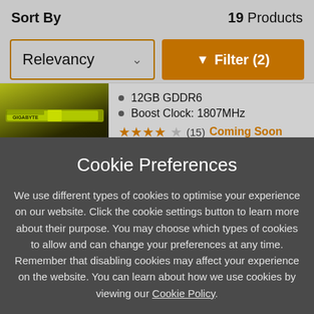Sort By
19 Products
Relevancy
Filter (2)
12GB GDDR6
Boost Clock: 1807MHz
★★★★☆ (15) Coming Soon
Cookie Preferences
We use different types of cookies to optimise your experience on our website. Click the cookie settings button to learn more about their purpose. You may choose which types of cookies to allow and can change your preferences at any time. Remember that disabling cookies may affect your experience on the website. You can learn about how we use cookies by viewing our Cookie Policy.
Amend Your Preference
Accept All Cookies